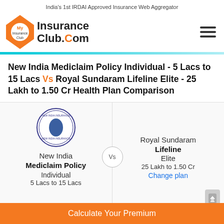India's 1st IRDAI Approved Insurance Web Aggregator
[Figure (logo): MyInsuranceClub.Com logo with orange diamond shape and hamburger menu icon]
New India Mediclaim Policy Individual - 5 Lacs to 15 Lacs Vs Royal Sundaram Lifeline Elite - 25 Lakh to 1.50 Cr Health Plan Comparison
| New India | Royal Sundaram |
| --- | --- |
| New India | Royal Sundaram |
| Mediclaim Policy | Lifeline |
| Individual
5 Lacs to 15 Lacs | Elite
25 Lakh to 1.50 Cr
Change plan |
Calculate Your Premium